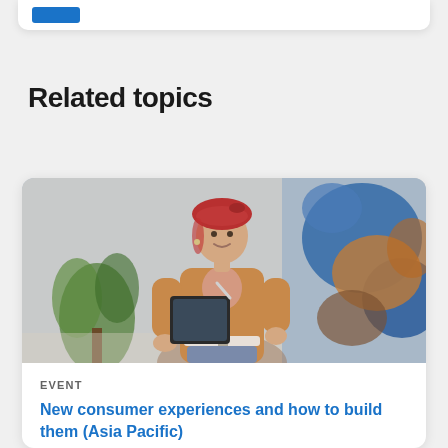[Figure (logo): Blue rectangle logo in top white card bar]
Related topics
[Figure (photo): Young woman with red beret hat, wearing a brown jacket, holding a tablet, smiling, standing in front of colorful abstract art and a plant]
EVENT
New consumer experiences and how to build them (Asia Pacific)